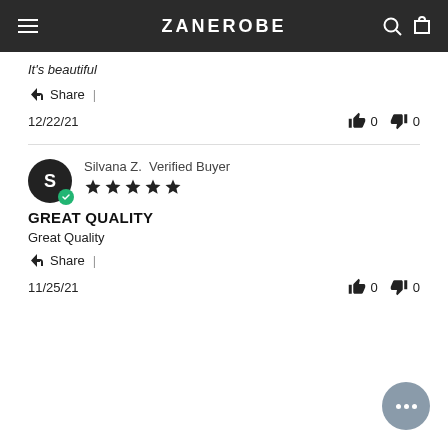ZANEROBE
It's beautiful
Share |
12/22/21  👍 0  👎 0
Silvana Z. Verified Buyer ★★★★★
GREAT QUALITY
Great Quality
Share |
11/25/21  👍 0  👎 0